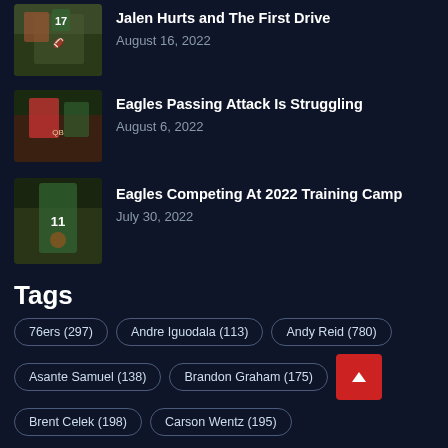[Figure (photo): Football game action photo with player #17]
Jalen Hurts and The First Drive
August 16, 2022
[Figure (photo): Eagles quarterback in red jersey action shot]
Eagles Passing Attack Is Struggling
August 6, 2022
[Figure (photo): Eagles player #11 catching or holding ball]
Eagles Competing At 2022 Training Camp
July 30, 2022
Tags
76ers (297)
Andre Iguodala (113)
Andy Reid (780)
Asante Samuel (138)
Brandon Graham (175)
Brent Celek (198)
Carson Wentz (195)